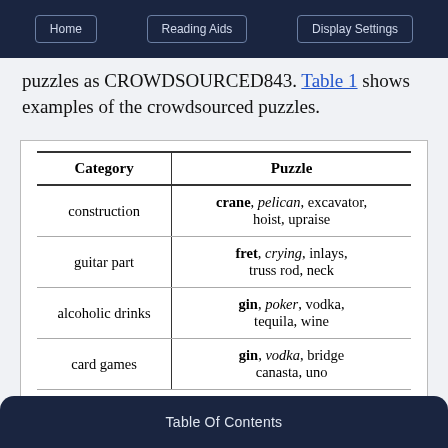Home | Reading Aids | Display Settings
puzzles as CROWDSOURCED843. Table 1 shows examples of the crowdsourced puzzles.
| Category | Puzzle |
| --- | --- |
| construction | crane, pelican, excavator, hoist, upraise |
| guitar part | fret, crying, inlays, truss rod, neck |
| alcoholic drinks | gin, poker, vodka, tequila, wine |
| card games | gin, vodka, bridge canasta, uno |
Table 1: Selection of examples from the crowdsourced
Table Of Contents